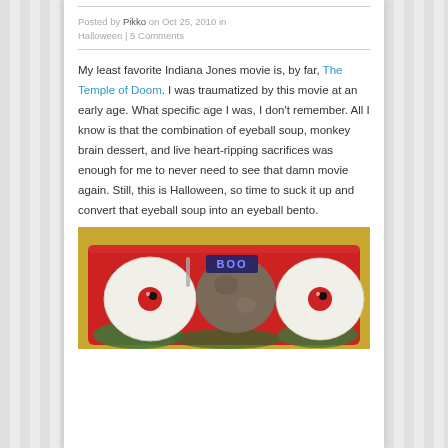Posted by Pikko on Oct 25, 2010 in Halloween | 5 Comments
My least favorite Indiana Jones movie is, by far, The Temple of Doom. I was traumatized by this movie at an early age. What specific age I was, I don't remember. All I know is that the combination of eyeball soup, monkey brain dessert, and live heart-ripping sacrifices was enough for me to never need to see that damn movie again. Still, this is Halloween, so time to suck it up and convert that eyeball soup into an eyeball bento.
[Figure (photo): Photo of a red bento box containing eyeball-shaped rice balls with red pupils, decorated to look like eyeballs, with a small 'BOO' sign, on a yellow background.]